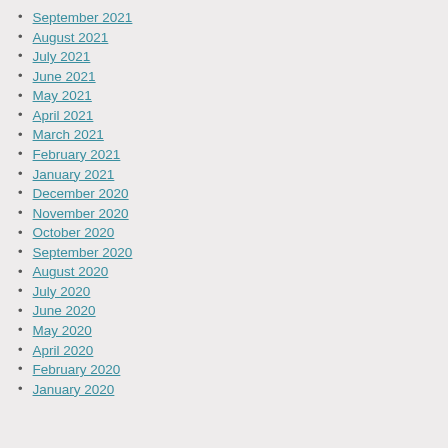September 2021
August 2021
July 2021
June 2021
May 2021
April 2021
March 2021
February 2021
January 2021
December 2020
November 2020
October 2020
September 2020
August 2020
July 2020
June 2020
May 2020
April 2020
February 2020
January 2020